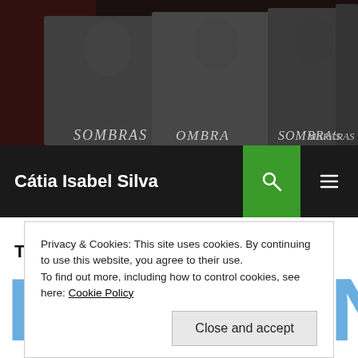[Figure (photo): Multiple copies of a book titled 'Sombras' fanned out, showing a woman on the cover, dark background]
Cátia Isabel Silva
Tag Archives: genre
[Figure (photo): Large blue text reading 'PLANNING' partially visible, with a hand visible at bottom right]
Privacy & Cookies: This site uses cookies. By continuing to use this website, you agree to their use.
To find out more, including how to control cookies, see here: Cookie Policy
Close and accept